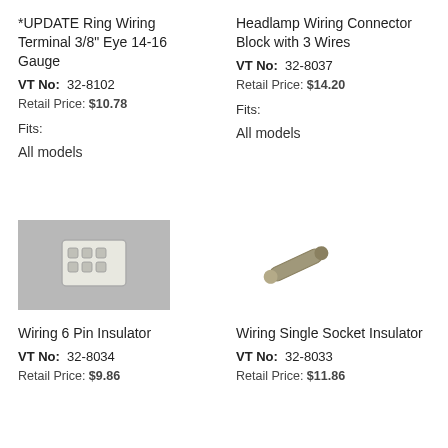*UPDATE Ring Wiring Terminal 3/8" Eye 14-16 Gauge
VT No: 32-8102
Retail Price: $10.78
Fits:
All models
[Figure (photo): Photo of a white plastic 6-pin wiring insulator connector block on a gray background]
Headlamp Wiring Connector Block with 3 Wires
VT No: 32-8037
Retail Price: $14.20
Fits:
All models
[Figure (photo): Photo of a small cylindrical metal wiring terminal/socket insulator on white background]
Wiring 6 Pin Insulator
VT No: 32-8034
Retail Price: $9.86
Wiring Single Socket Insulator
VT No: 32-8033
Retail Price: $11.86